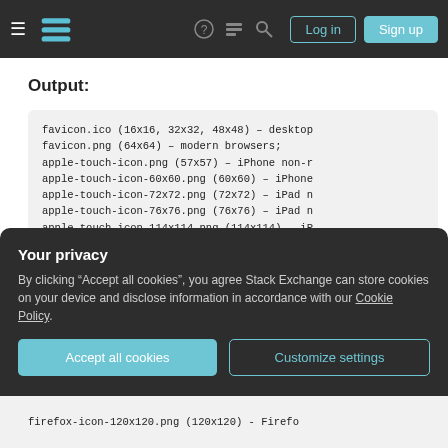Stack Exchange navigation bar with hamburger menu, logo, help, chat, search icons, Log in and Sign up buttons
Output:
favicon.ico (16x16, 32x32, 48x48) — desktop
favicon.png (64x64) — modern browsers;
apple-touch-icon.png (57x57) — iPhone non-r
apple-touch-icon-60x60.png (60x60) — iPhone
apple-touch-icon-72x72.png (72x72) — iPad n
apple-touch-icon-76x76.png (76x76) — iPad n
apple-touch-icon-114x114.png (114x114) — iP
apple-touch-icon-120x120.png (120x120) — iP
apple-touch-icon-144x144.png (144x144) — iP
apple-touch-icon-152x152.png (152x152) — iP
windows-tile-144x144.png (144x144) — Window
Your privacy
By clicking "Accept all cookies", you agree Stack Exchange can store cookies on your device and disclose information in accordance with our Cookie Policy.
Accept all cookies   Customize settings
firefox-icon-120x120.png (120x120) - Firefo